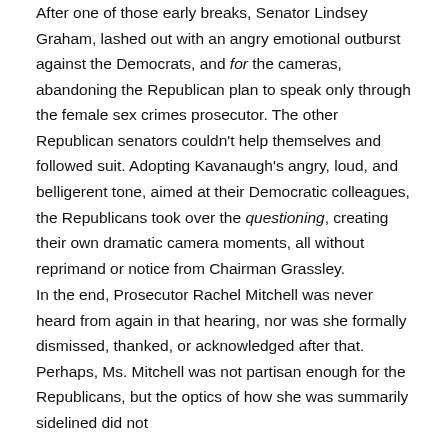After one of those early breaks, Senator Lindsey Graham, lashed out with an angry emotional outburst against the Democrats, and for the cameras, abandoning the Republican plan to speak only through the female sex crimes prosecutor. The other Republican senators couldn't help themselves and followed suit. Adopting Kavanaugh's angry, loud, and belligerent tone, aimed at their Democratic colleagues, the Republicans took over the questioning, creating their own dramatic camera moments, all without reprimand or notice from Chairman Grassley.
In the end, Prosecutor Rachel Mitchell was never heard from again in that hearing, nor was she formally dismissed, thanked, or acknowledged after that. Perhaps, Ms. Mitchell was not partisan enough for the Republicans, but the optics of how she was summarily sidelined did not